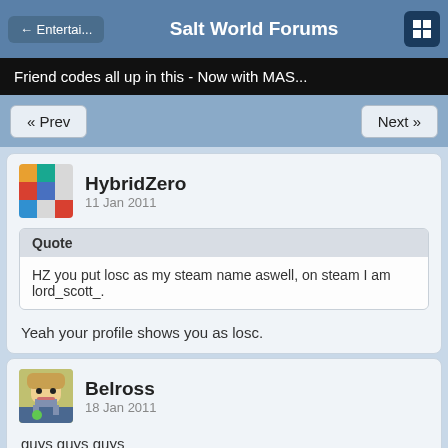← Entertai...   Salt World Forums
Friend codes all up in this - Now with MAS...
« Prev   Next »
HybridZero
11 Jan 2011
Quote
HZ you put losc as my steam name aswell, on steam I am lord_scott_.
Yeah your profile shows you as losc.
Belross
18 Jan 2011
guys guys guys
my nick is belross pretty much everywhere, including xbox live, psn, and steam